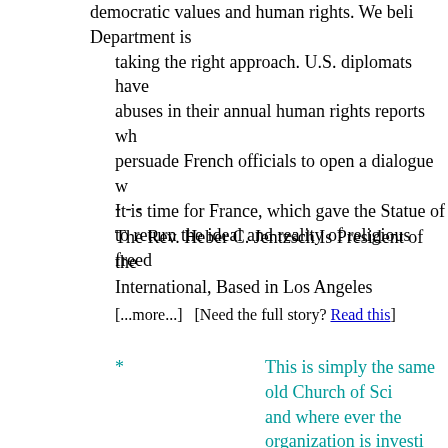democratic values and human rights. We believe the Department is taking the right approach. U.S. diplomats have abuses in their annual human rights reports wh... persuade French officials to open a dialogue w... It is time for France, which gave the Statue of to return the ideal and reality of religious freed...
- - -
The Rev. Heber C. Jentzsch Is President of the International, Based in Los Angeles
[...more...]  [Need the full story? Read this]
* This is simply the same old Church of Sci... and where ever the organization is investi... to accusations of "human rights abuses," c... are "anti-religious." France, of course, enjo... religion. But unlike in the USA, France reco... with certain responsibilities. Like many oth... allow crimes to be committed under the gu... to be commended for its efforts at providing protection against such cults as the Church...